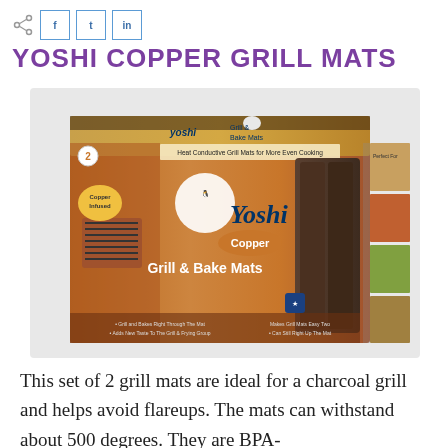f  t  in
YOSHI COPPER GRILL MATS
[Figure (photo): Product photo of Yoshi Copper Grill & Bake Mats box showing two copper-colored grill mats, with box branding including 'Yoshi Copper', 'Grill & Bake Mats', 'Heat Conductive Grill Mats for More Even Cooking', 'Copper Infused', and food images.]
This set of 2 grill mats are ideal for a charcoal grill and helps avoid flareups. The mats can withstand about 500 degrees. They are BPA-